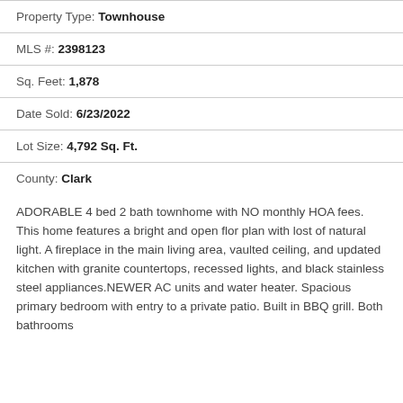Property Type: Townhouse
MLS #: 2398123
Sq. Feet: 1,878
Date Sold: 6/23/2022
Lot Size: 4,792 Sq. Ft.
County: Clark
ADORABLE 4 bed 2 bath townhome with NO monthly HOA fees. This home features a bright and open flor plan with lost of natural light. A fireplace in the main living area, vaulted ceiling, and updated kitchen with granite countertops, recessed lights, and black stainless steel appliances.NEWER AC units and water heater. Spacious primary bedroom with entry to a private patio. Built in BBQ grill. Both bathrooms were thoroughly updated. Amazing outdoor space and both...